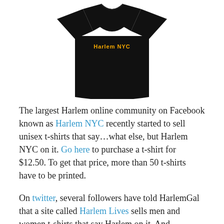[Figure (photo): Black unisex t-shirt with 'Harlem NYC' text in gold/yellow lettering on the chest area, displayed on a white background]
The largest Harlem online community on Facebook known as Harlem NYC recently started to sell unisex t-shirts that say…what else, but Harlem NYC on it. Go here to purchase a t-shirt for $12.50. To get that price, more than 50 t-shirts have to be printed.
On twitter, several followers have told HarlemGal that a site called Harlem Lives sells men and women t-shirts that say Harlem on it. And apparently, there is a sale going on at this site according to a follower. Harlem Lives tees run